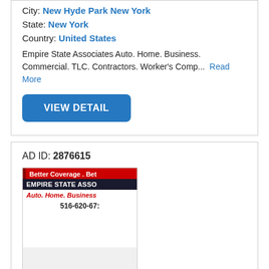City: New Hyde Park New York
State: New York
Country: United States
Empire State Associates Auto. Home. Business. Commercial. TLC. Contractors. Worker's Comp... Read More
VIEW DETAIL
AD ID: 2876615
[Figure (photo): Empire State Associates insurance business card image showing 'Better Coverage. Bet', 'EMPIRE STATE ASSO', 'Auto. Home. Business', '516-620-67', 'eStateInsuranc']
Insurance for Less
City: New York
State: New York
Country: United States